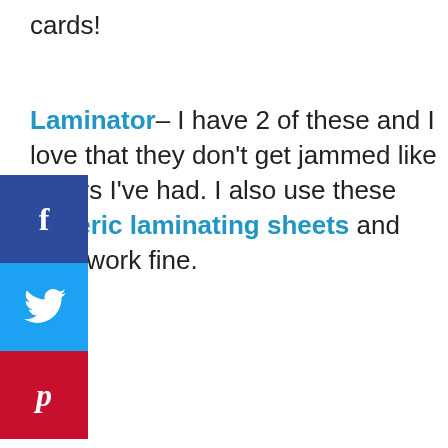cards!
Laminator– I have 2 of these and I love that they don't get jammed like others I've had. I also use these generic laminating sheets and they work fine.
[Figure (other): Social media sharing sidebar with Facebook (blue), Twitter (light blue), and Pinterest (red) buttons with f, bird, and p icons respectively]